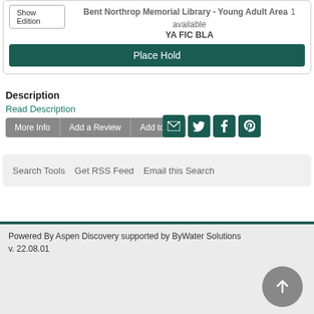Show Edition
Bent Northrop Memorial Library - Young Adult Area  1 available
YA FIC BLA
Place Hold
Description
Read Description
More Info  Add a Review  Add to list
Search Tools  Get RSS Feed  Email this Search
Powered By Aspen Discovery supported by ByWater Solutions
v. 22.08.01